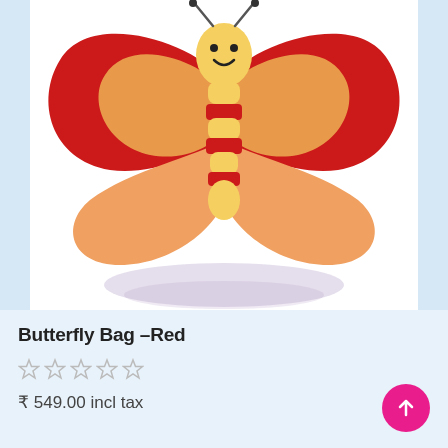[Figure (photo): A red and yellow plush butterfly-shaped bag with a smiling face, displayed on a white background. The butterfly bag has red wings with yellow accents and a striped yellow and red body.]
Butterfly Bag –Red
☆ ☆ ☆ ☆ ☆
₹ 549.00 incl tax